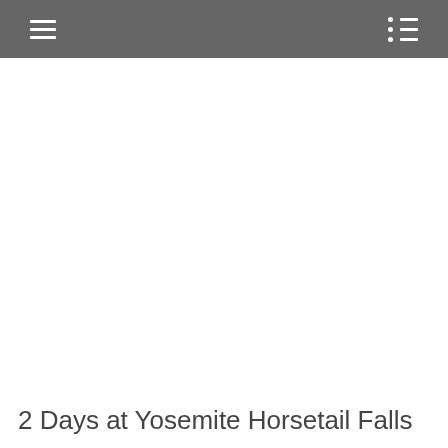☰  ☰≡
2 Days at Yosemite Horsetail Falls